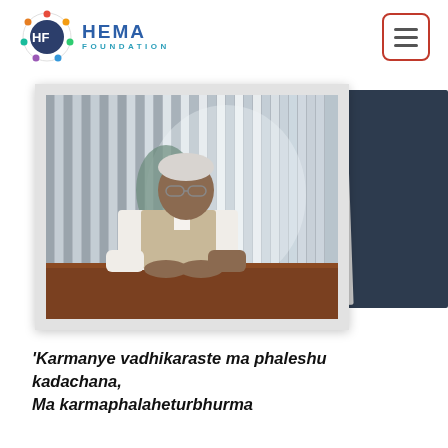[Figure (logo): HEMA Foundation logo — circular emblem with 'HF' initials surrounded by colorful dots, with 'HEMA FOUNDATION' text in teal/blue letters]
[Figure (other): Hamburger menu icon in a red-bordered rounded rectangle]
[Figure (photo): Portrait photo of an elderly Indian man with white hair and glasses, wearing a white kurta and beige Nehru jacket, seated at a wooden table with hands folded, against a background of vertical silver panels. Photo displayed with a dark navy background panel and a light gray tilted frame.]
'Karmanye vadhikaraste ma phaleshu kadachana, Ma karmaphalaheturbhurma